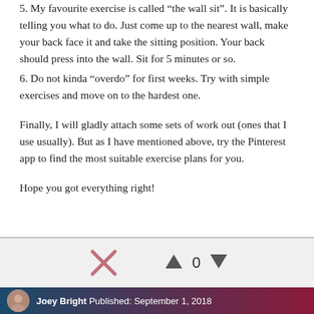5. My favourite exercise is called “the wall sit”. It is basically telling you what to do. Just come up to the nearest wall, make your back face it and take the sitting position. Your back should press into the wall. Sit for 5 minutes or so.
6. Do not kinda “overdo” for first weeks. Try with simple exercises and move on to the hardest one.
Finally, I will gladly attach some sets of work out (ones that I use usually). But as I have mentioned above, try the Pinterest app to find the most suitable exercise plans for you.
Hope you got everything right!
Joey Bright Published: September 1, 2018